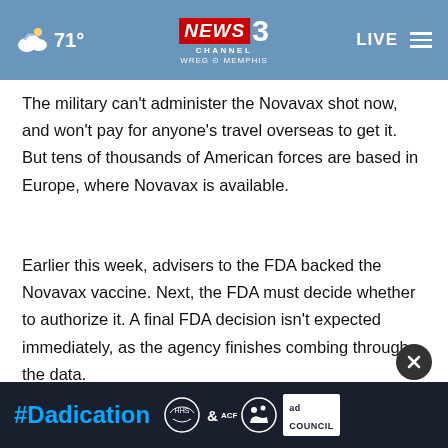NEWS CHANNEL 3 WREG MEMPHIS | 71° | LIVE
The military can't administer the Novavax shot now, and won't pay for anyone's travel overseas to get it. But tens of thousands of American forces are based in Europe, where Novavax is available.
Earlier this week, advisers to the FDA backed the Novavax vaccine. Next, the FDA must decide whether to authorize it. A final FDA decision isn't expected immediately, as the agency finishes combing through the data.
Across ... mbers have been discharged for refusing the vaccine,
[Figure (screenshot): Ad banner with #Dadication hashtag in blue, HHS and ACF logos, and Ad Council logo on dark background, with a close (X) button overlay]